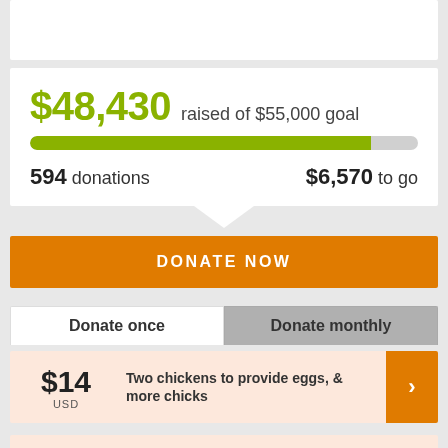$48,430 raised of $55,000 goal
594 donations
$6,570 to go
DONATE NOW
Donate once
Donate monthly
$14 USD  Two chickens to provide eggs, & more chicks